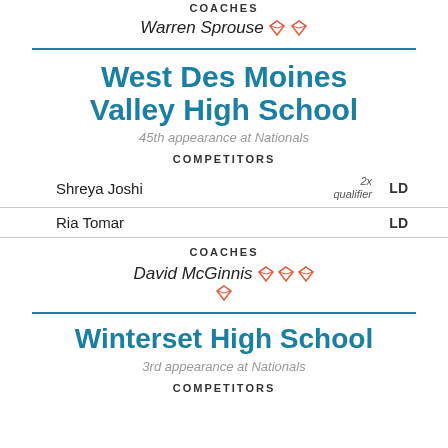COACHES
Warren Sprouse (2 diamond icons)
West Des Moines Valley High School
45th appearance at Nationals
COMPETITORS
Shreya Joshi  2x qualifier  LD
Ria Tomar  LD
COACHES
David McGinnis (4 diamond icons)
Winterset High School
3rd appearance at Nationals
COMPETITORS